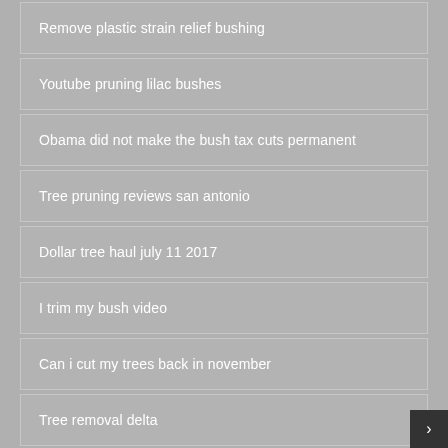Remove plastic strain relief bushing
Youtube pruning lilac bushes
Obama did not make the bush tax cuts permanent
Tree pruning reviews san antonio
Dollar tree haul july 11 2017
I trim my bush video
Can i cut my trees back in november
Tree removal delta